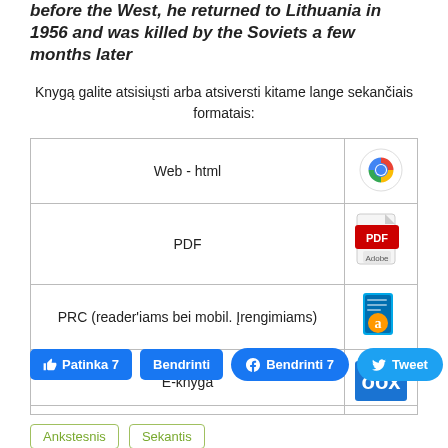before the West, he returned to Lithuania in 1956 and was killed by the Soviets a few months later
Knygą galite atsisiųsti arba atsiversti kitame lange sekančiais formatais:
| Format | Icon |
| --- | --- |
| Web - html | [Chrome icon] |
| PDF | [Adobe PDF icon] |
| PRC (reader'iams bei mobil. Įrengimiams) | [Amazon Kindle icon] |
| E-knyga | [OOX icon] |
👍 Patinka 7  Bendrinti
f Bendrinti 7
Tweet
Ankstesnis
Sekantis